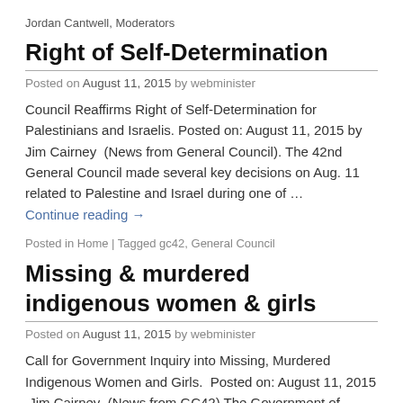Jordan Cantwell, Moderators
Right of Self-Determination
Posted on August 11, 2015 by webminister
Council Reaffirms Right of Self-Determination for Palestinians and Israelis. Posted on: August 11, 2015 by Jim Cairney  (News from General Council). The 42nd General Council made several key decisions on Aug. 11 related to Palestine and Israel during one of …
Continue reading →
Posted in Home | Tagged gc42, General Council
Missing & murdered indigenous women & girls
Posted on August 11, 2015 by webminister
Call for Government Inquiry into Missing, Murdered Indigenous Women and Girls.  Posted on: August 11, 2015  Jim Cairney  (News from GC42) The Government of Canada should conduct a full public inquiry into the more than 1,200 cases of missing or